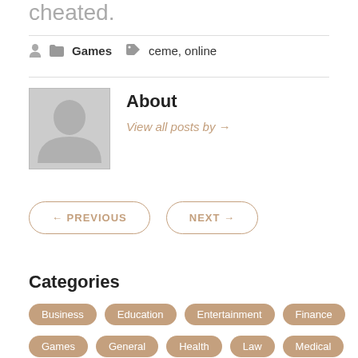cheated.
Games   ceme, online
About
View all posts by →
← PREVIOUS   NEXT →
Categories
Business
Education
Entertainment
Finance
Games
General
Health
Law
Medical